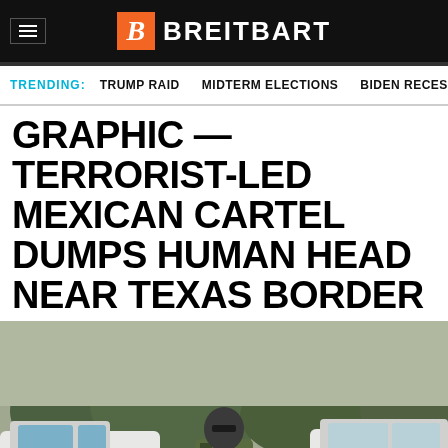BREITBART
TRENDING: TRUMP RAID   MIDTERM ELECTIONS   BIDEN RECESSI >
GRAPHIC — TERRORIST-LED MEXICAN CARTEL DUMPS HUMAN HEAD NEAR TEXAS BORDER
[Figure (photo): A person in camouflage gear and balaclava holding a rifle, standing between two white pickup trucks outdoors]